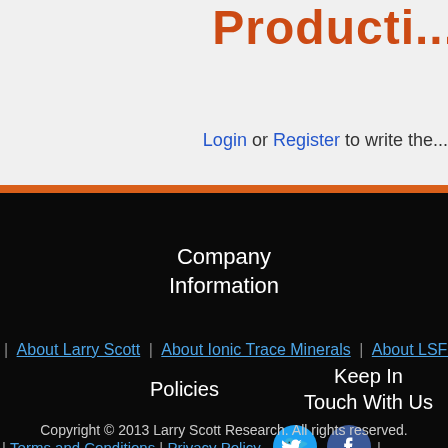Productivi...
Login or Register to write the...
Company Information
| About Larry Scott | About Ionic Trace Minerals | About LSFN | Beco...
Policies
Keep In Touch With Us
| Terms and Conditions | Privacy Policy |
Copyright © 2013 Larry Scott Research. All rights reserved.